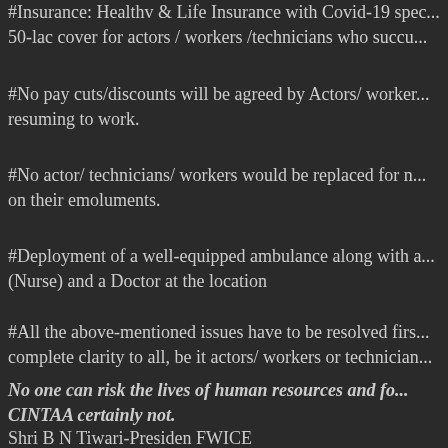#Insurance: Healthv & Life Insurance with Covid-19 spec... 50-lac cover for actors / workers /technicians who succu...
#No pay cuts/discounts will be agreed by Actors/ worker... resuming to work.
#No actor/ technicians/ workers would be replaced for n... on their emoluments.
#Deployment of a well-equipped ambulance along with a... (Nurse) and a Doctor at the location
#All the above-mentioned issues have to be resolved firs... complete clarity to all, be it actors/ workers or technician...
No one can risk the lives of human resources and fo... CINTAA certainly not.
Shri B N Tiwari-Presiden FWICE